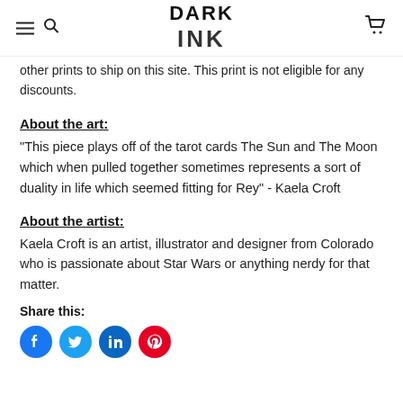DARK INK
other prints to ship on this site. This print is not eligible for any discounts.
About the art:
"This piece plays off of the tarot cards The Sun and The Moon which when pulled together sometimes represents a sort of duality in life which seemed fitting for Rey" - Kaela Croft
About the artist:
Kaela Croft is an artist, illustrator and designer from Colorado who is passionate about Star Wars or anything nerdy for that matter.
Share this:
[Figure (other): Social media share icons: Facebook, Twitter, LinkedIn, Pinterest]